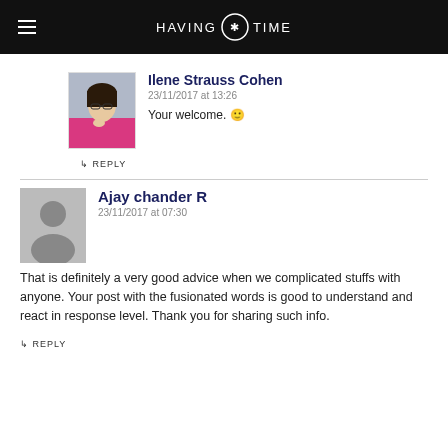HAVING TIME
Ilene Strauss Cohen
23/11/2017 at 13:26
Your welcome. 🙂
↳ REPLY
Ajay chander R
23/11/2017 at 07:30
That is definitely a very good advice when we complicated stuffs with anyone. Your post with the fusionated words is good to understand and react in response level. Thank you for sharing such info.
↳ REPLY